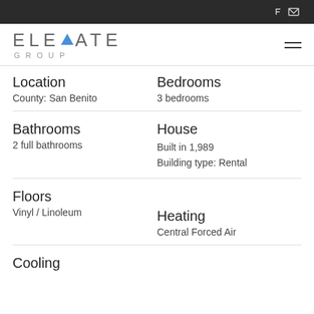Elevate Group — navigation bar with phone and mail icons
ELEVATE GROUP
Location
County: San Benito
Bedrooms
3 bedrooms
Bathrooms
2 full bathrooms
House
Built in 1,989
Building type: Rental
Floors
Vinyl / Linoleum
Heating
Central Forced Air
Cooling